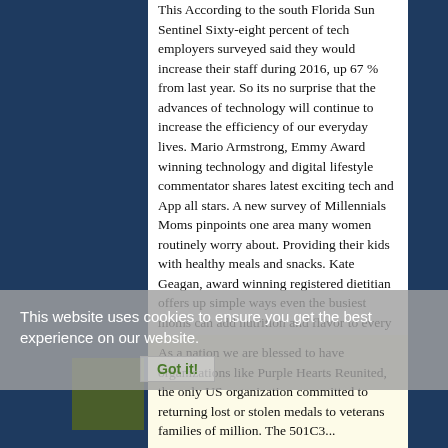This According to the south Florida Sun Sentinel Sixty-eight percent of tech employers surveyed said they would increase their staff during 2016, up 67 % from last year.  So its no surprise that the advances of technology will continue to increase the efficiency of our everyday lives.  Mario Armstrong, Emmy Award winning technology and digital lifestyle commentator shares latest exciting tech and App all stars.  A new survey of Millennials Moms pinpoints one area many women routinely worry about.  Providing their kids with healthy meals and snacks. Kate Geagan, award winning registered dietitian offers up simple ways even the busiest moms can add nutrition and flavor to every meal.
This website uses cookies to ensure you get the best experience on our website.
Got it!
As a nation we are blessed to have organizations like Purple Hearts Reunited, the only US organization committed to returning lost or stolen medals to veterans families of million. The 501C3...